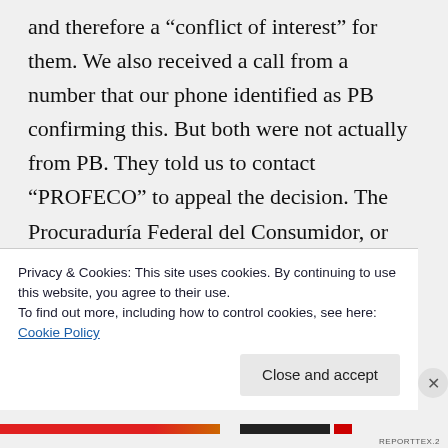and therefore a “conflict of interest” for them. We also received a call from a number that our phone identified as PB confirming this. But both were not actually from PB. They told us to contact “PROFECO” to appeal the decision. The Procuraduría Federal del Consumidor, or Office of the Federal Prosecutor for the Consumer (PROFECO, for short) is described
Privacy & Cookies: This site uses cookies. By continuing to use this website, you agree to their use.
To find out more, including how to control cookies, see here: Cookie Policy
Close and accept